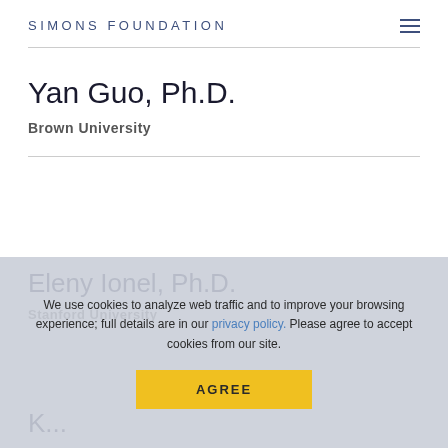SIMONS FOUNDATION
Yan Guo, Ph.D.
Brown University
Eleny Ionel, Ph.D.
Stanford University
We use cookies to analyze web traffic and to improve your browsing experience; full details are in our privacy policy. Please agree to accept cookies from our site.
AGREE